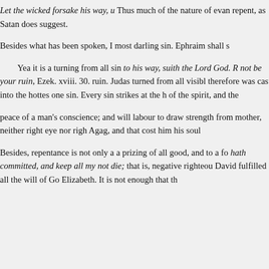Let the wicked forsake his way, u… Thus much of the nature of evan… repent, as Satan does suggest.
Besides what has been spoken, I … most darling sin. Ephraim shall s…
Yea it is a turning from all sin … to his way, suith the Lord God. R… not be your ruin, Ezek. xviii. 30. … ruin. Judas turned from all visibl… therefore was cast into the hottes… one sin. Every sin strikes at the h… of the spirit, and the
peace of a man's conscience; and… will labour to draw strength from… mother, neither right eye nor righ… Agag, and that cost him his soul…
Besides, repentance is not only a… a prizing of all good, and to a fo… hath committed, and keep all my… not die; that is, negative righteou… David fulfilled all the will of Go… Elizabeth. It is not enough that th…